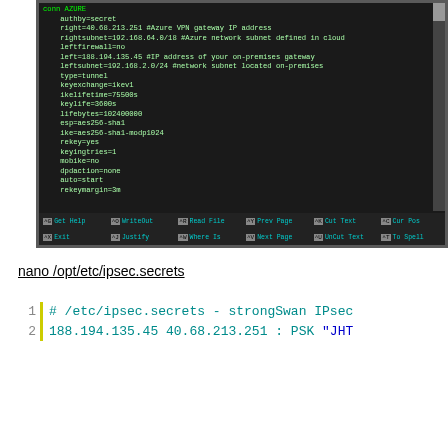[Figure (screenshot): PuTTY terminal showing nano editor with ipsec.conf configuration file. Content includes: conn AZURE, authby=secret, right=40.68.213.251 #Azure VPN gateway IP address, rightsubnet=192.168.64.0/18 #Azure network subnet defined in cloud, leftfirewall=no, left=188.194.135.45 #IP address of your on-premises gateway, leftsubnet=192.168.2.0/24 #network subnet located on-premises, type=tunnel, keyexchange=ikev1, ikelifetime=75500s, keylife=3600s, lifebytes=102400000, esp=aes256-sha1, ike=aes256-sha1-modp1024, rekey=yes, keyingtries=1, mobike=no, dpdaction=none, auto=start, rekeymargin=3m. Bottom shows nano command bar.]
nano /opt/etc/ipsec.secrets
[Figure (screenshot): Code block showing two lines: Line 1: # /etc/ipsec.secrets - strongSwan IPsec secrets file, Line 2: 188.194.135.45 40.68.213.251 : PSK "JHT...]
[Figure (screenshot): PuTTY terminal showing nano editor with ipsec.secrets file. Content: /etc/ipsec.secrets - strongSwan IPsec secrets file, 188.194.135.45 40.68.213.251 : PSK "JHTg6uSeozruFMJ3rvWyB2G9WyrzrNWzd"]